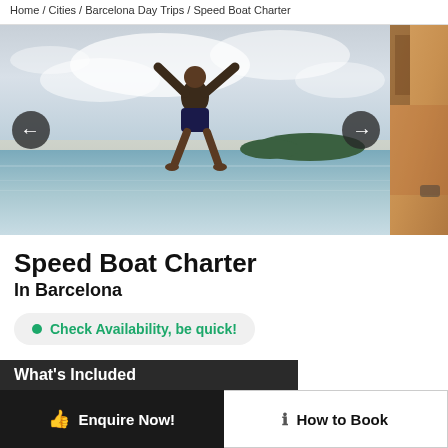Home / Cities / Barcelona Day Trips / Speed Boat Charter
[Figure (photo): Man jumping into the sea with arms outstretched, blue ocean and islands in background, cloudy sky. Carousel with left and right navigation arrows. Partial second image visible on right edge (close-up of person with hair).]
Speed Boat Charter
In Barcelona
Check Availability, be quick!
What's Included
Enquire Now!
How to Book